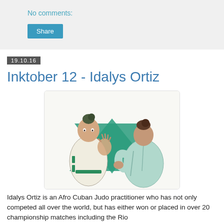No comments:
Share
19.10.16
Inktober 12 - Idalys Ortiz
[Figure (illustration): Ink illustration of two judo practitioners in white and green uniforms facing each other, with green triangle shapes in the background.]
Idalys Ortiz is an Afro Cuban Judo practitioner who has not only competed all over the world, but has either won or placed in over 20 championship matches including the Rio